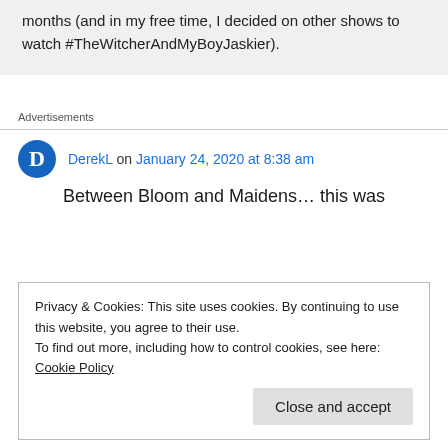months (and in my free time, I decided on other shows to watch #TheWitcherAndMyBoyJaskier).
Advertisements
DerekL on January 24, 2020 at 8:38 am
Between Bloom and Maidens… this was
Privacy & Cookies: This site uses cookies. By continuing to use this website, you agree to their use.
To find out more, including how to control cookies, see here: Cookie Policy
Close and accept